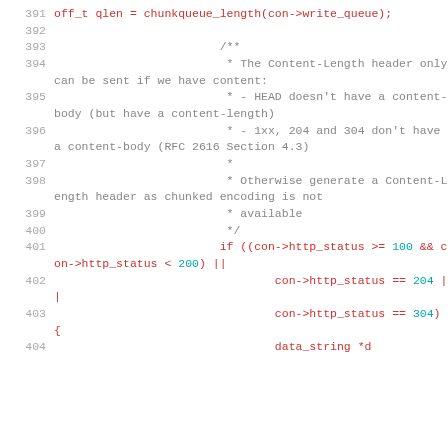[Figure (screenshot): Source code listing in a monospaced font showing C code lines 391-404, with line numbers in gray, comments in gray, code in red/pink, and numeric literals in cyan.]